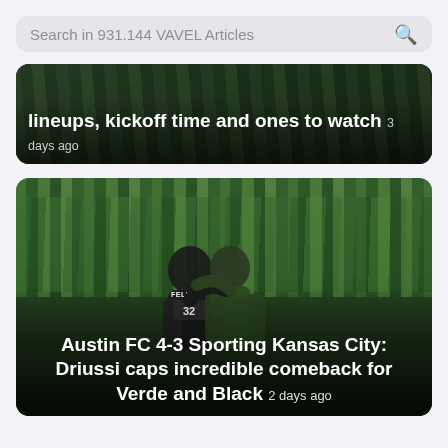Search in 931.144 VAVEL Articles
[Figure (screenshot): Partial article card showing text: 'lineups, kickoff time and ones to watch' with timestamp '3 days ago' over a dark sports photo background]
[Figure (photo): Soccer celebration photo showing Austin FC players including FELIPE (#32) celebrating in front of green-clad crowd at stadium]
Austin FC 4-3 Sporting Kansas City: Driussi caps incredible comeback for Verde and Black 2 days ago